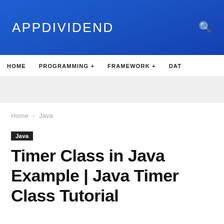APPDIVIDEND
HOME   PROGRAMMING +   FRAMEWORK +   DAT
Home › Java
Java
Timer Class in Java Example | Java Timer Class Tutorial